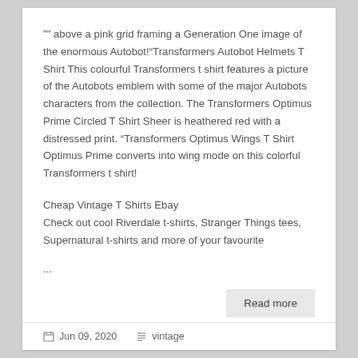"" above a pink grid framing a Generation One image of the enormous Autobot!“Transformers Autobot Helmets T Shirt This colourful Transformers t shirt features a picture of the Autobots emblem with some of the major Autobots characters from the collection. The Transformers Optimus Prime Circled T Shirt Sheer is heathered red with a distressed print. “Transformers Optimus Wings T Shirt Optimus Prime converts into wing mode on this colorful Transformers t shirt!
Cheap Vintage T Shirts Ebay
Check out cool Riverdale t-shirts, Stranger Things tees, Supernatural t-shirts and more of your favourite
...
Read more
Jun 09, 2020   vintage